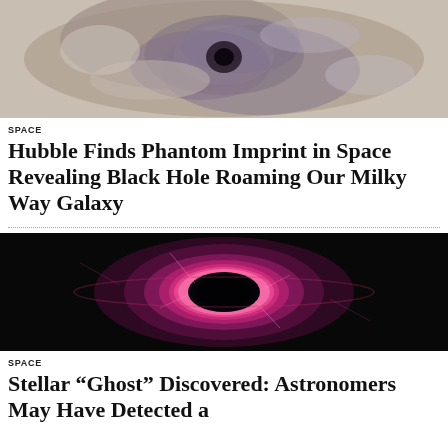[Figure (photo): Astronomical image showing a nebula or galaxy with swirling clouds and a dark central region, with purple and brown hues suggesting a black hole environment in the Milky Way]
SPACE
Hubble Finds Phantom Imprint in Space Revealing Black Hole Roaming Our Milky Way Galaxy
[Figure (photo): Artistic rendering of a black hole with glowing pink and purple accretion disk against a black background, with bright light ring around the central dark void]
SPACE
Stellar “Ghost” Discovered: Astronomers May Have Detected a